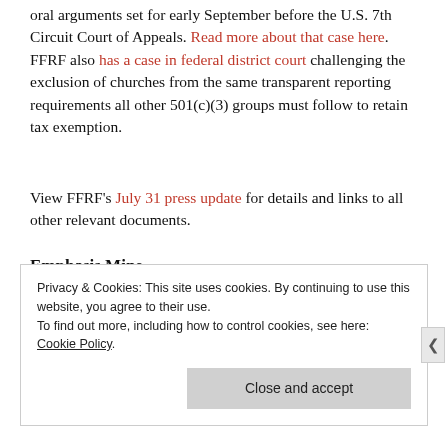oral arguments set for early September before the U.S. 7th Circuit Court of Appeals. Read more about that case here. FFRF also has a case in federal district court challenging the exclusion of churches from the same transparent reporting requirements all other 501(c)(3) groups must follow to retain tax exemption.
View FFRF's July 31 press update for details and links to all other relevant documents.
Emphasis Mine
Privacy & Cookies: This site uses cookies. By continuing to use this website, you agree to their use. To find out more, including how to control cookies, see here: Cookie Policy